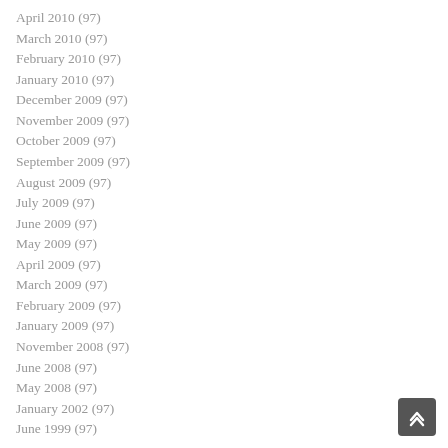April 2010 (97)
March 2010 (97)
February 2010 (97)
January 2010 (97)
December 2009 (97)
November 2009 (97)
October 2009 (97)
September 2009 (97)
August 2009 (97)
July 2009 (97)
June 2009 (97)
May 2009 (97)
April 2009 (97)
March 2009 (97)
February 2009 (97)
January 2009 (97)
November 2008 (97)
June 2008 (97)
May 2008 (97)
January 2002 (97)
June 1999 (97)